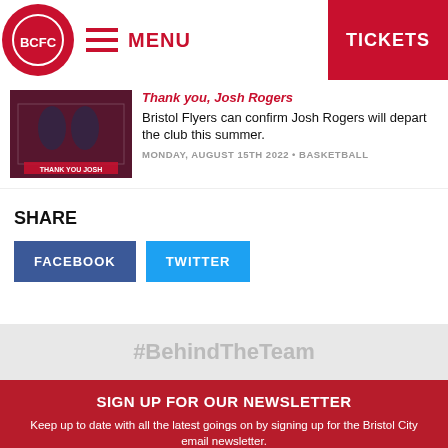MENU | TICKETS
[Figure (screenshot): Bristol Flyers basketball news thumbnail showing players with red overlay and 'THANK YOU JOSH' text]
Thank you, Josh Rogers
Bristol Flyers can confirm Josh Rogers will depart the club this summer.
MONDAY, AUGUST 15TH 2022 • BASKETBALL
SHARE
FACEBOOK
TWITTER
#BehindTheTeam
SIGN UP FOR OUR NEWSLETTER
Keep up to date with all the latest goings on by signing up for the Bristol City email newsletter.
Enter email address | SIGN UP